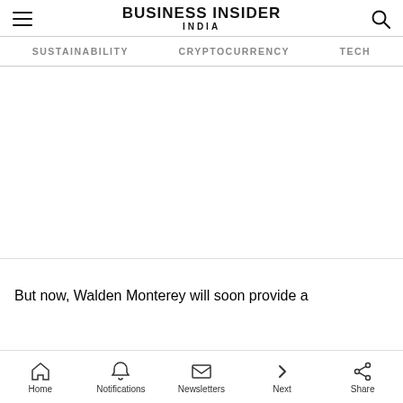BUSINESS INSIDER INDIA
SUSTAINABILITY  CRYPTOCURRENCY  TECH
[Figure (other): Advertisement / blank area]
But now, Walden Monterey will soon provide a
Home  Notifications  Newsletters  Next  Share